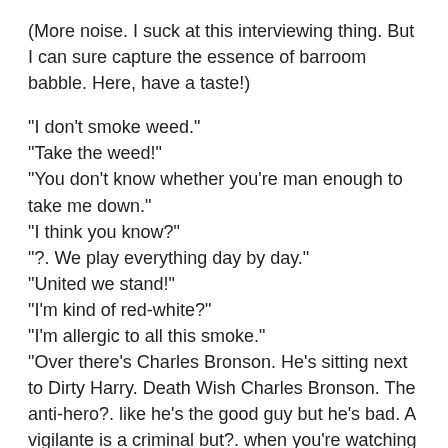(More noise. I suck at this interviewing thing. But I can sure capture the essence of barroom babble. Here, have a taste!)
"I don't smoke weed."
"Take the weed!"
"You don't know whether you're man enough to take me down."
"I think you know?"
". We play everything day by day."
"United we stand!"
"I'm kind of red-white?"
"I'm allergic to all this smoke."
"Over there's Charles Bronson. He's sitting next to Dirty Harry. Death Wish Charles Bronson. The anti-hero?. like he's the good guy but he's bad. A vigilante is a criminal but?. when you're watching the movie it's like the person is avenging the deaths?."